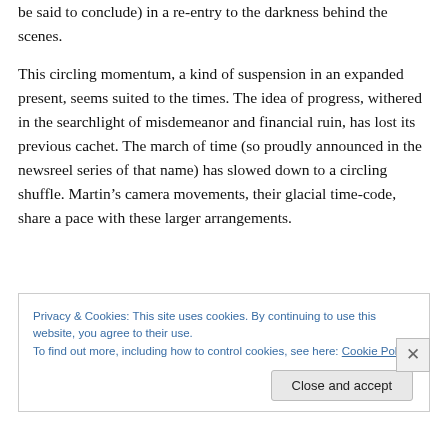be said to conclude) in a re-entry to the darkness behind the scenes.
This circling momentum, a kind of suspension in an expanded present, seems suited to the times. The idea of progress, withered in the searchlight of misdemeanor and financial ruin, has lost its previous cachet. The march of time (so proudly announced in the newsreel series of that name) has slowed down to a circling shuffle. Martin’s camera movements, their glacial time-code, share a pace with these larger arrangements.
Privacy & Cookies: This site uses cookies. By continuing to use this website, you agree to their use.
To find out more, including how to control cookies, see here: Cookie Policy